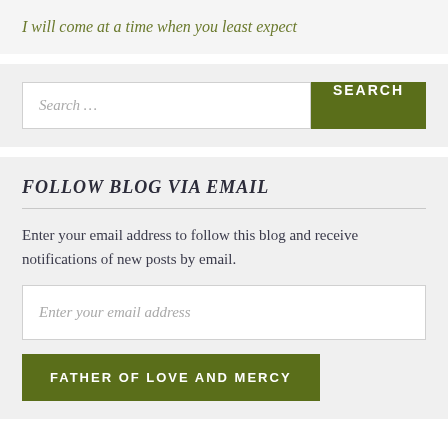I will come at a time when you least expect
Search …
FOLLOW BLOG VIA EMAIL
Enter your email address to follow this blog and receive notifications of new posts by email.
Enter your email address
FATHER OF LOVE AND MERCY